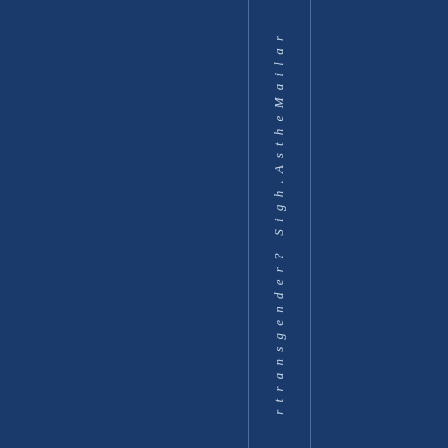r t r a n s g e n d e r ?   S i g h . A s t h e M a i l a r